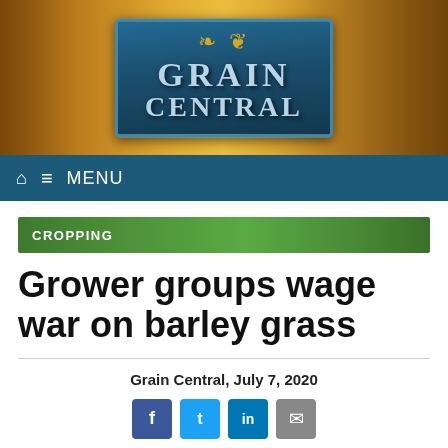[Figure (logo): Grain Central logo — teal/dark-blue metal-look plaque with gold wheat emblem, text GRAIN CENTRAL in bold silver-blue uppercase lettering, set against a warm golden wheat field background]
MENU
CROPPING
Grower groups wage war on barley grass
Grain Central, July 7, 2020